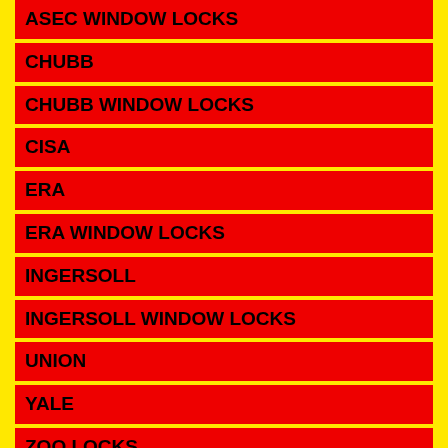ASEC WINDOW LOCKS
CHUBB
CHUBB WINDOW LOCKS
CISA
ERA
ERA WINDOW LOCKS
INGERSOLL
INGERSOLL WINDOW LOCKS
UNION
YALE
ZOO LOCKS
KEYS
PRE CUT KEYS